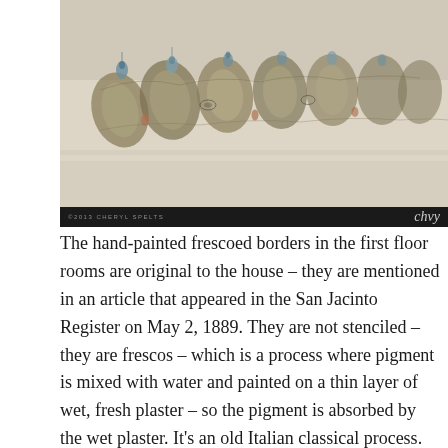[Figure (photo): Close-up photograph of hand-painted frescoed borders on a wall, showing ornate floral and organic motifs in muted olive, blue, and cream tones. A black caption bar at the bottom reads '©2013 CHERYL SPELTS' with a cursive signature.]
The hand-painted frescoed borders in the first floor rooms are original to the house – they are mentioned in an article that appeared in the San Jacinto Register on May 2, 1889. They are not stenciled – they are frescos – which is a process where pigment is mixed with water and painted on a thin layer of wet, fresh plaster – so the pigment is absorbed by the wet plaster. It's an old Italian classical process. And since it is hand-painted by an